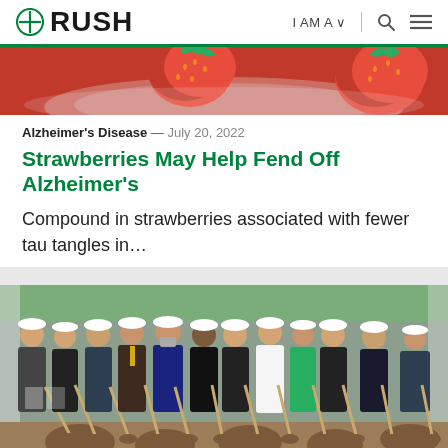RUSH | I AM A ∨ | 🔍 ☰
[Figure (photo): Close-up photo of red strawberries on a plate, partially visible at top of page]
Alzheimer's Disease — July 20, 2022
Strawberries May Help Fend Off Alzheimer's
Compound in strawberries associated with fewer tau tangles in…
[Figure (photo): Group of people wearing white hard hats at a groundbreaking ceremony, holding shovels with dirt, standing under a white tent outdoors]